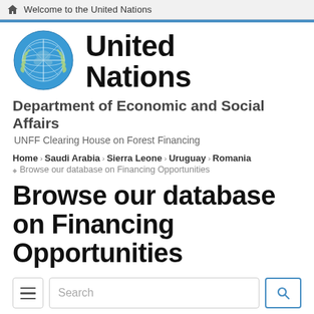Welcome to the United Nations
[Figure (logo): United Nations emblem - blue globe with olive branches, alongside 'United Nations' in bold black text]
Department of Economic and Social Affairs
UNFF Clearing House on Forest Financing
Home › Saudi Arabia › Sierra Leone › Uruguay › Romania › Browse our database on Financing Opportunities
Browse our database on Financing Opportunities